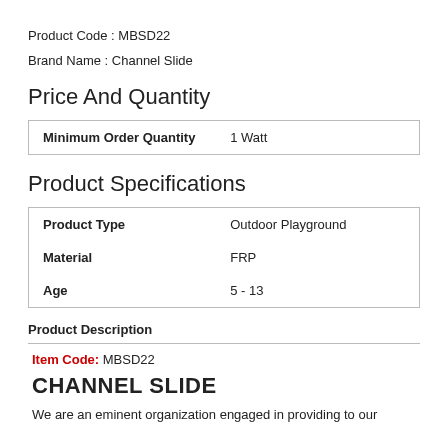Product Code : MBSD22
Brand Name : Channel Slide
Price And Quantity
| Minimum Order Quantity | 1 Watt |
| --- | --- |
Product Specifications
| Product Type | Outdoor Playground |
| --- | --- |
| Material | FRP |
| Age | 5 - 13 |
Product Description
Item Code: MBSD22
CHANNEL SLIDE
We are an eminent organization engaged in providing to our